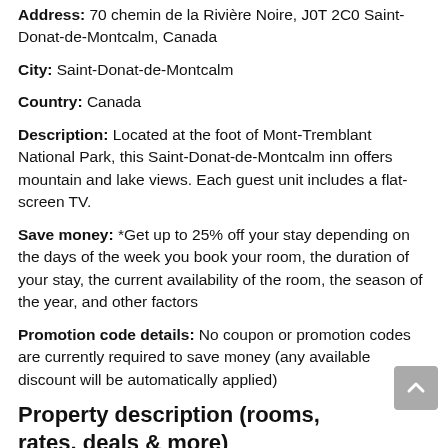Address: 70 chemin de la Rivière Noire, J0T 2C0 Saint-Donat-de-Montcalm, Canada
City: Saint-Donat-de-Montcalm
Country: Canada
Description: Located at the foot of Mont-Tremblant National Park, this Saint-Donat-de-Montcalm inn offers mountain and lake views. Each guest unit includes a flat-screen TV.
Save money: *Get up to 25% off your stay depending on the days of the week you book your room, the duration of your stay, the current availability of the room, the season of the year, and other factors
Promotion code details: No coupon or promotion codes are currently required to save money (any available discount will be automatically applied)
Property description (rooms, rates, deals & more)